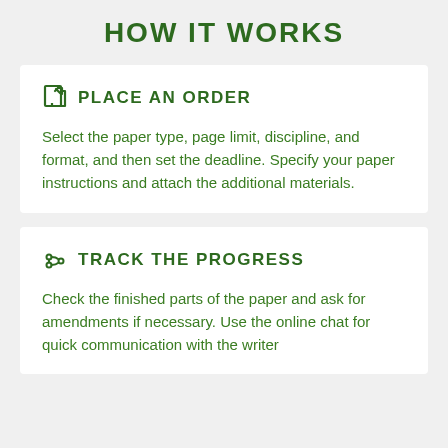HOW IT WORKS
PLACE AN ORDER
Select the paper type, page limit, discipline, and format, and then set the deadline. Specify your paper instructions and attach the additional materials.
TRACK THE PROGRESS
Check the finished parts of the paper and ask for amendments if necessary. Use the online chat for quick communication with the writer